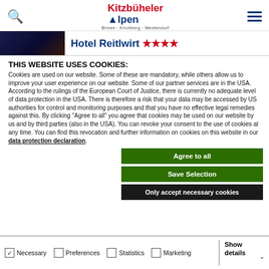Kitzbüheler Alpen — Brixen · Kirchberg · Westendorf
Hotel Reitlwirt ★★★★
THIS WEBSITE USES COOKIES:
Cookies are used on our website. Some of these are mandatory, while others allow us to improve your user experience on our website. Some of our partner services are in the USA. According to the rulings of the European Court of Justice, there is currently no adequate level of data protection in the USA. There is therefore a risk that your data may be accessed by US authorities for control and monitoring purposes and that you have no effective legal remedies against this. By clicking "Agree to all" you agree that cookies may be used on our website by us and by third parties (also in the USA). You can revoke your consent to the use of cookies at any time. You can find this revocation and further information on cookies on this website in our data protection declaration.
Agree to all
Save Selection
Only accept necessary cookies
Necessary | Preferences | Statistics | Marketing | Show details